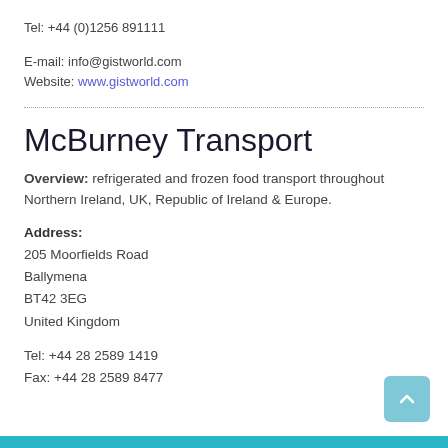Tel: +44 (0)1256 891111
E-mail: info@gistworld.com
Website: www.gistworld.com
McBurney Transport
Overview: refrigerated and frozen food transport throughout Northern Ireland, UK, Republic of Ireland & Europe.
Address:
205 Moorfields Road
Ballymena
BT42 3EG
United Kingdom
Tel: +44 28 2589 1419
Fax: +44 28 2589 8477